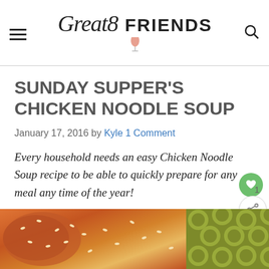Great8Friends
SUNDAY SUPPER'S CHICKEN NOODLE SOUP
January 17, 2016 by Kyle 1 Comment
Every household needs an easy Chicken Noodle Soup recipe to be able to quickly prepare for any meal any time of the year!
[Figure (photo): Close-up photo of a sesame bun and green patterned fabric, partial view at the bottom of the page]